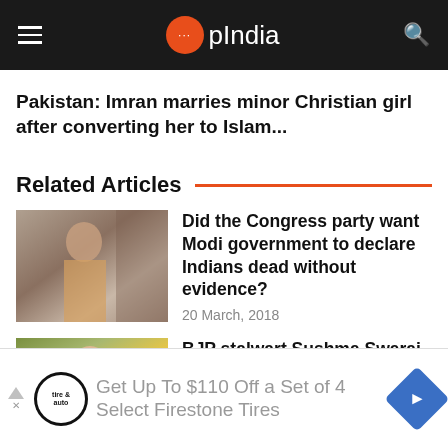OpIndia
Pakistan: Imran marries minor Christian girl after converting her to Islam...
Related Articles
[Figure (photo): Photo of a woman in a saree standing near a door]
Did the Congress party want Modi government to declare Indians dead without evidence?
20 March, 2018
[Figure (photo): Photo of a smiling woman with flowers in background]
BJP stalwart Sushma Swaraj passes away at the age of 67, nation mourns
Get Up To $110 Off a Set of 4 Select Firestone Tires